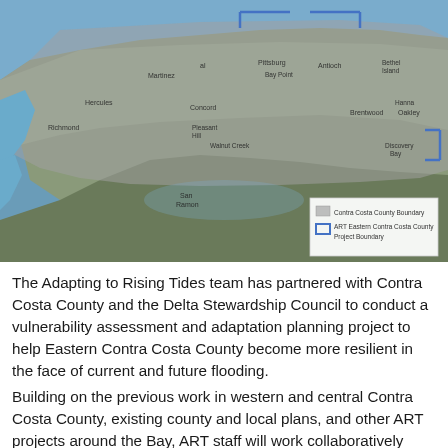[Figure (map): Aerial/satellite map of Contra Costa County and surrounding San Francisco Bay Area. A gray shaded overlay shows Contra Costa County Boundary. A blue dashed rectangle shows the ART Eastern Contra Costa County Project Boundary in the northeastern portion. Place labels visible include Hercules, Martinez, Pittsburg, Bay Point, Antioch, Bethel Island, Crockett, Richmond, Concord, Pleasant Hill, Walnut Creek, Brentwood, Oakley, Discovery Bay, San Ramon. A legend in the bottom right shows: gray fill = Contra Costa County Boundary; blue bracket symbol = ART Eastern Contra Costa County Project Boundary.]
The Adapting to Rising Tides team has partnered with Contra Costa County and the Delta Stewardship Council to conduct a vulnerability assessment and adaptation planning project to help Eastern Contra Costa County become more resilient in the face of current and future flooding.
Building on the previous work in western and central Contra Costa County, existing county and local plans, and other ART projects around the Bay, ART staff will work collaboratively